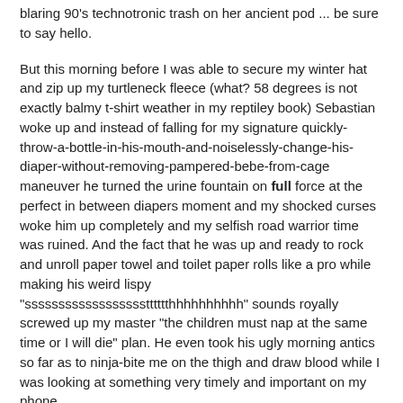blaring 90's technotronic trash on her ancient pod ... be sure to say hello.
But this morning before I was able to secure my winter hat and zip up my turtleneck fleece (what? 58 degrees is not exactly balmy t-shirt weather in my reptiley book) Sebastian woke up and instead of falling for my signature quickly-throw-a-bottle-in-his-mouth-and-noiselessly-change-his-diaper-without-removing-pampered-bebe-from-cage maneuver he turned the urine fountain on full force at the perfect in between diapers moment and my shocked curses woke him up completely and my selfish road warrior time was ruined. And the fact that he was up and ready to rock and unroll paper towel and toilet paper rolls like a pro while making his weird lispy "sssssssssssssssssstttttthhhhhhhhhh" sounds royally screwed up my master "the children must nap at the same time or I will die" plan. He even took his ugly morning antics so far as to ninja-bite me on the thigh and draw blood while I was looking at something very timely and important on my phone.
And yet after allllllllllllllll that ...